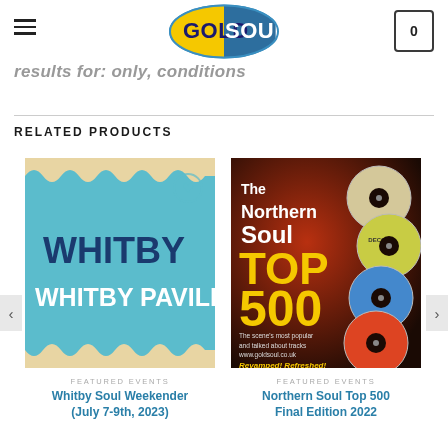Gold Soul - navigation header with logo and cart
results for: only, conditions
RELATED PRODUCTS
[Figure (photo): Whitby Pavilion event poster - teal background with wavy border and text WHITBY / WHITBY PAVILION in dark blue and white]
FEATURED EVENTS
Whitby Soul Weekender (July 7-9th, 2023)
[Figure (photo): The Northern Soul TOP 500 Final Edition 2022 book cover - dark red/brown background with vinyl record labels and yellow text]
FEATURED EVENTS
Northern Soul Top 500 Final Edition 2022